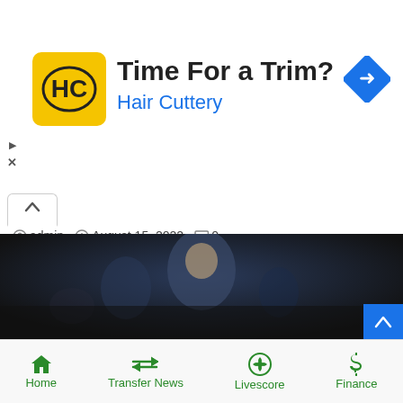[Figure (screenshot): Hair Cuttery advertisement banner with yellow logo, 'Time For a Trim?' headline, and blue navigation arrow icon]
admin  August 15, 2022  0
Arthur Melo and Adrien Rabiot expected to leave Juventus within summer 2022 window
Juventus are attempting to offload Arthur Melo before the give up of the switch window. The participant has been excluded…
Read More »
[Figure (photo): Photo of a football player in a blue jersey looking contemplative]
Home  Transfer News  Livescore  Finance